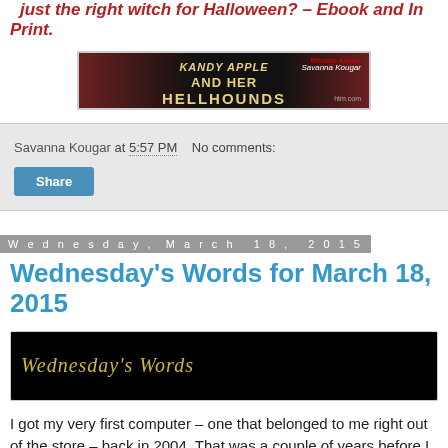just the right witch for Halloween? – Ebook and In Print.
[Figure (illustration): Book cover banner for Kandy Apple and Her Hellhounds by Savanna Kougar, dark background with red and gold text]
Savanna Kougar at 5:57 PM   No comments:
Share
Wednesday, March 18, 2015
Wednesday's Words for March 18, 2015
[Figure (illustration): Black background image with Wednesday's Words written in gold cursive/handwriting style text]
I got my very first computer – one that belonged to me right out of the store – back in 2004. That was a couple of years before I wrote what would be my first published novel. This computer was an IBM and had been on sale at a furniture